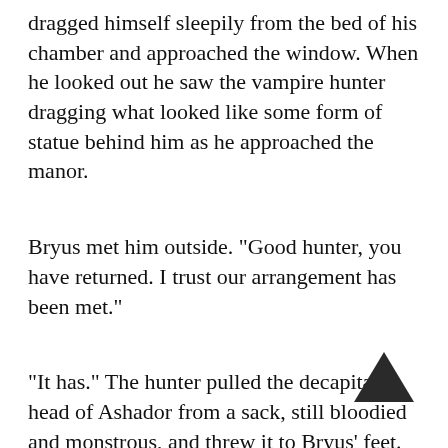dragged himself sleepily from the bed of his chamber and approached the window. When he looked out he saw the vampire hunter dragging what looked like some form of statue behind him as he approached the manor.
Bryus met him outside. "Good hunter, you have returned. I trust our arrangement has been met."
"It has." The hunter pulled the decapitated head of Ashador from a sack, still bloodied and monstrous, and threw it to Bryus' feet.
"Yes!" said Bryus, both startled and intrigued. him! I recognize him, the fiend who turned my e looked up at the hunter. "My, what a mess you